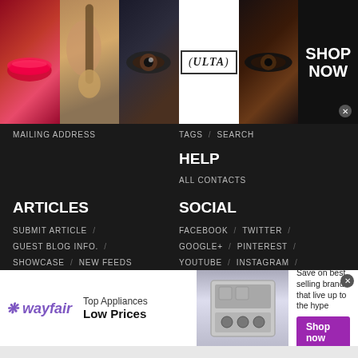[Figure (screenshot): Ulta Beauty banner advertisement with makeup images (lips, brush, eye), Ulta Beauty logo, smoky eye photo, and SHOP NOW call-to-action]
MAILING ADDRESS
TAGS / SEARCH
HELP
ALL CONTACTS
ARTICLES
SOCIAL
SUBMIT ARTICLE /
FACEBOOK / TWITTER /
GUEST BLOG INFO. /
GOOGLE+ / PINTEREST /
SHOWCASE / NEW FEEDS
YOUTUBE / INSTAGRAM /
[Figure (screenshot): Wayfair advertisement: Top Appliances Low Prices, image of stove/range appliance, Save on best selling brands that live up to the hype, Shop now button]